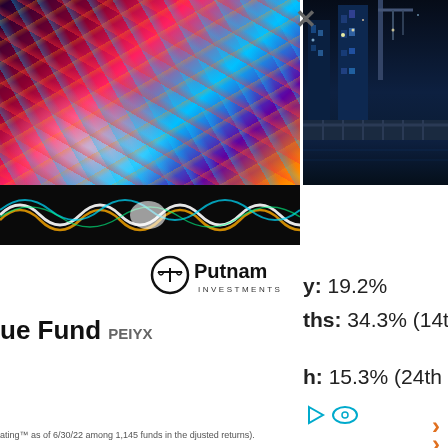[Figure (photo): Colorful light streaks / abstract illuminated art installation photo]
[Figure (photo): City skyline and bridge at night]
[Figure (logo): Putnam Investments logo with scales icon]
ue Fund PEIYX
y: 19.2%
ths: 34.3% (14th
h: 15.3% (24th
ating™ as of 6/30/22 among 1,145 funds in the djusted returns).